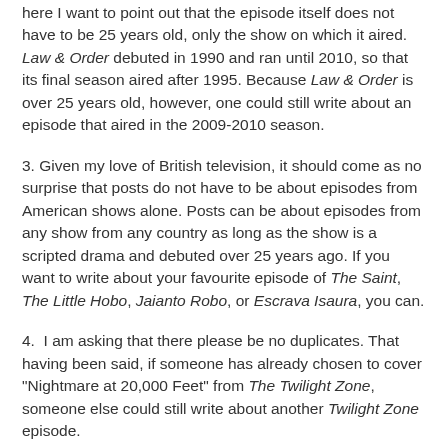here I want to point out that the episode itself does not have to be 25 years old, only the show on which it aired. Law & Order debuted in 1990 and ran until 2010, so that its final season aired after 1995. Because Law & Order is over 25 years old, however, one could still write about an episode that aired in the 2009-2010 season.
3. Given my love of British television, it should come as no surprise that posts do not have to be about episodes from American shows alone. Posts can be about episodes from any show from any country as long as the show is a scripted drama and debuted over 25 years ago. If you want to write about your favourite episode of The Saint, The Little Hobo, Jaianto Robo, or Escrava Isaura, you can.
4.  I am asking that there please be no duplicates. That having been said, if someone has already chosen to cover "Nightmare at 20,000 Feet" from The Twilight Zone, someone else could still write about another Twilight Zone episode.
5. In keeping with ground rule no. 4, I am asking that if you